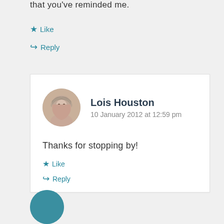that you've reminded me.
★ Like
↪ Reply
Lois Houston
10 January 2012 at 12:59 pm
Thanks for stopping by!
★ Like
↪ Reply